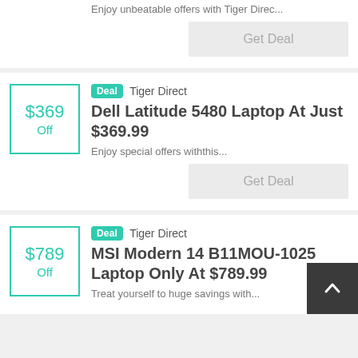Enjoy unbeatable offers with Tiger Direc...
Get Deal
Deal  Tiger Direct
Dell Latitude 5480 Laptop At Just $369.99
Enjoy special offers withthis...
Get Deal
Deal  Tiger Direct
MSI Modern 14 B11MOU-1025 Laptop Only At $789.99
Treat yourself to huge savings with...